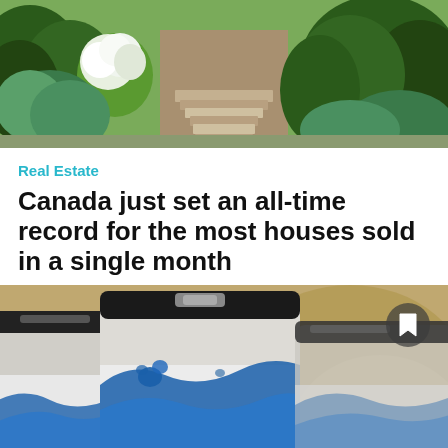[Figure (photo): Outdoor garden path with green hedges, shrubs, and a walkway leading to steps, viewed from a low angle on a sunny day.]
Real Estate
Canada just set an all-time record for the most houses sold in a single month
[Figure (photo): Close-up of several cans/containers labeled 'SUSTAINABLE WATER' with a wave graphic on the label, black lids visible at top, slightly blurred background with warm tones. A bookmark icon button is visible in the upper right corner.]